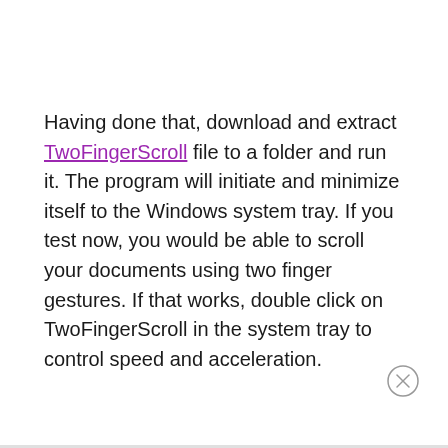Having done that, download and extract TwoFingerScroll file to a folder and run it. The program will initiate and minimize itself to the Windows system tray. If you test now, you would be able to scroll your documents using two finger gestures. If that works, double click on TwoFingerScroll in the system tray to control speed and acceleration.